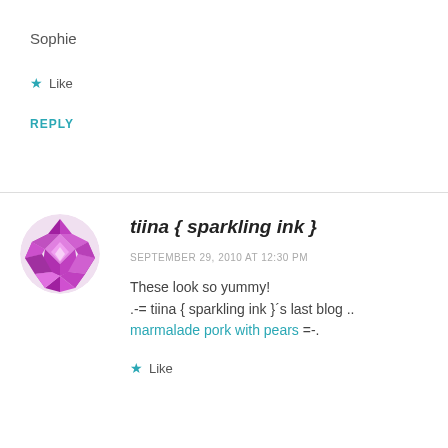Sophie
★ Like
REPLY
[Figure (illustration): Circular avatar with purple and magenta geometric/mosaic pattern]
tiina { sparkling ink }
SEPTEMBER 29, 2010 AT 12:30 PM
These look so yummy!
.-= tiina { sparkling ink }´s last blog .. marmalade pork with pears =-.
★ Like